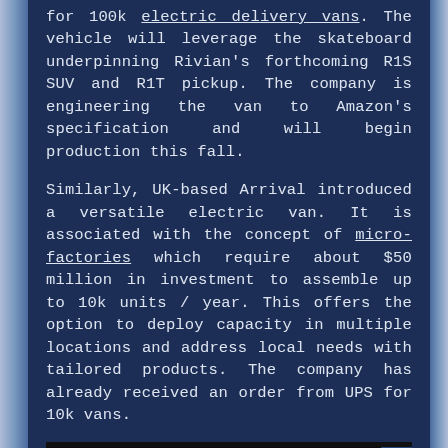for 100k electric delivery vans. The vehicle will leverage the skateboard underpinning Rivian's forthcoming R1S SUV and R1T pickup. The company is engineering the van to Amazon's specification and will begin production this fall.
Similarly, UK-based Arrival introduced a versatile electric van. It is associated with the concept of micro-factories which require about $50 million in investment to assemble up to 10k units / year. This offers the option to deploy capacity in multiple locations and address local needs with tailored products. The company has already received an order from UPS for 10k vans.
[Figure (photo): Underside/chassis view of an electric vehicle skateboard platform, shown in dark tones with two motor/wheel assemblies visible at the front and rear.]